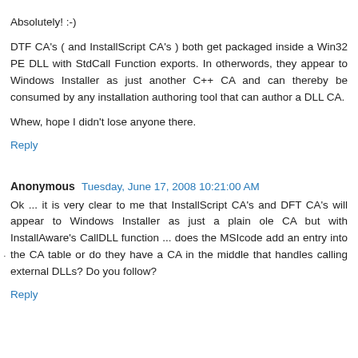Absolutely! :-)
DTF CA's ( and InstallScript CA's ) both get packaged inside a Win32 PE DLL with StdCall Function exports. In otherwords, they appear to Windows Installer as just another C++ CA and can thereby be consumed by any installation authoring tool that can author a DLL CA.
Whew, hope I didn't lose anyone there.
Reply
Anonymous  Tuesday, June 17, 2008 10:21:00 AM
Ok ... it is very clear to me that InstallScript CA's and DFT CA's will appear to Windows Installer as just a plain ole CA but with InstallAware's CallDLL function ... does the MSIcode add an entry into the CA table or do they have a CA in the middle that handles calling external DLLs? Do you follow?
Reply